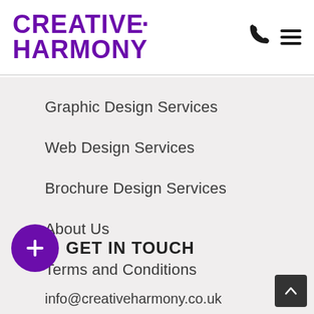CREATIVE HARMONY
Graphic Design Services
Web Design Services
Brochure Design Services
About Us
Terms and Conditions
GET IN TOUCH
info@creativeharmony.co.uk